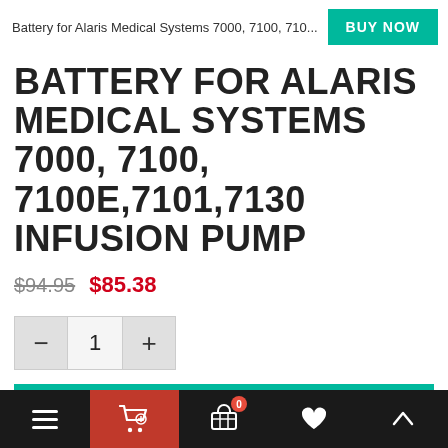Battery for Alaris Medical Systems 7000, 7100, 710...
BATTERY FOR ALARIS MEDICAL SYSTEMS 7000, 7100, 7100E,7101,7130 INFUSION PUMP
$94.95  $85.38
[Figure (other): Quantity selector with minus button, quantity 1, and plus button]
ADD TO CART
ASK ABOUT THIS PRODUCT
Navigation bar with menu, cart, basket with badge 0, heart, and up-arrow icons